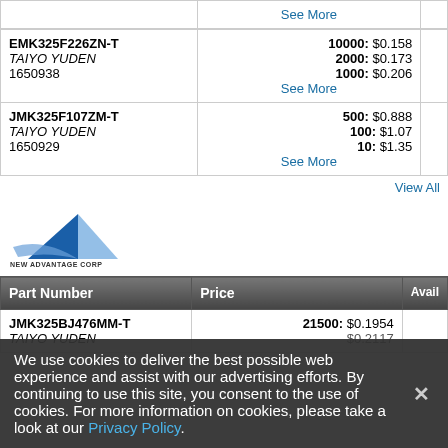| Part Number | Price | Avail |
| --- | --- | --- |
| EMK325F226ZN-T
TAIYO YUDEN
1650938 | 10000: $0.158
2000: $0.173
1000: $0.206
See More |  |
| JMK325F107ZM-T
TAIYO YUDEN
1650929 | 500: $0.888
100: $1.07
10: $1.35
See More |  |
View All
[Figure (logo): New Advantage Corp logo with blue triangle graphic and company name text below]
| Part Number | Price | Avail |
| --- | --- | --- |
| JMK325BJ476MM-T
TAIYO YUDEN | 21500: $0.1954
... |  |
We use cookies to deliver the best possible web experience and assist with our advertising efforts. By continuing to use this site, you consent to the use of cookies. For more information on cookies, please take a look at our Privacy Policy.